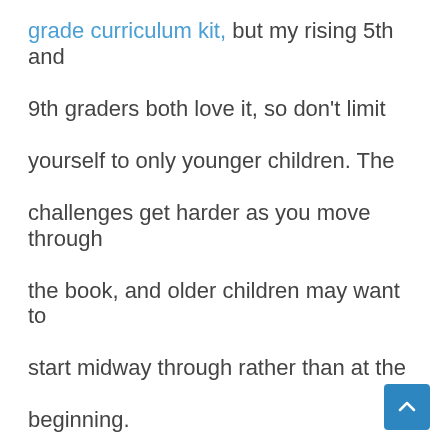grade curriculum kit, but my rising 5th and 9th graders both love it, so don't limit yourself to only younger children. The challenges get harder as you move through the book, and older children may want to start midway through rather than at the beginning.